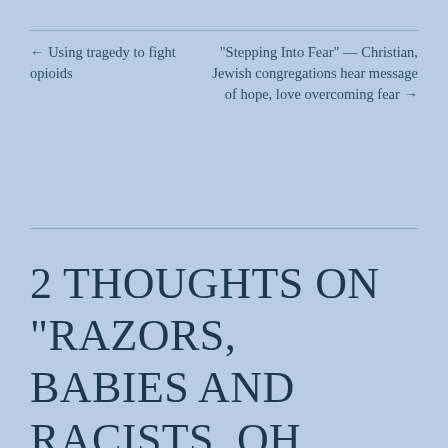← Using tragedy to fight opioids
“Stepping Into Fear” — Christian, Jewish congregations hear message of hope, love overcoming fear →
2 thoughts on “Razors, babies and racists, oh my! The week in an America ruled by fear”